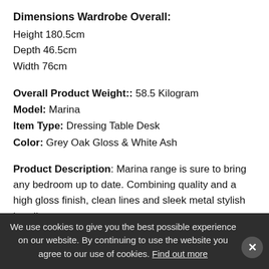Dimensions Wardrobe Overall:
Height 180.5cm
Depth 46.5cm
Width 76cm
Overall Product Weight:: 58.5 Kilogram
Model: Marina
Item Type: Dressing Table Desk
Color: Grey Oak Gloss & White Ash
Product Description: Marina range is sure to bring any bedroom up to date. Combining quality and a high gloss finish, clean lines and sleek metal stylish handles. This stunning 3 Drawer Dressing table, provides storage for a variety of items, other matching units available in the range to complete the look. Suitable for most bed sheets, chair covers and other home textiles,
We use cookies to give you the best possible experience on our website. By continuing to use the website you agree to our use of cookies. Find out more